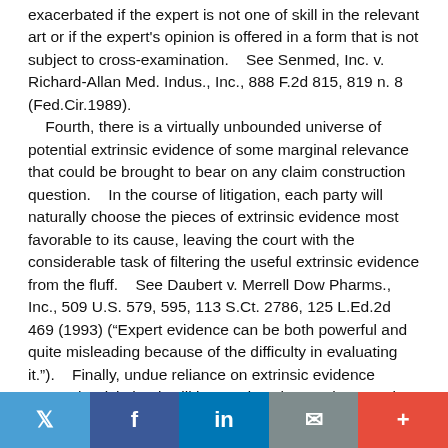exacerbated if the expert is not one of skill in the relevant art or if the expert's opinion is offered in a form that is not subject to cross-examination.    See Senmed, Inc. v. Richard-Allan Med. Indus., Inc., 888 F.2d 815, 819 n. 8 (Fed.Cir.1989).
    Fourth, there is a virtually unbounded universe of potential extrinsic evidence of some marginal relevance that could be brought to bear on any claim construction question.    In the course of litigation, each party will naturally choose the pieces of extrinsic evidence most favorable to its cause, leaving the court with the considerable task of filtering the useful extrinsic evidence from the fluff.    See Daubert v. Merrell Dow Pharms., Inc., 509 U.S. 579, 595, 113 S.Ct. 2786, 125 L.Ed.2d 469 (1993) (“Expert evidence can be both powerful and quite misleading because of the difficulty in evaluating it.”).    Finally, undue reliance on extrinsic evidence poses the risk that it will be used to change the meaning of claims in derogation of the “indisputable public
Twitter | Facebook | LinkedIn | Email | +